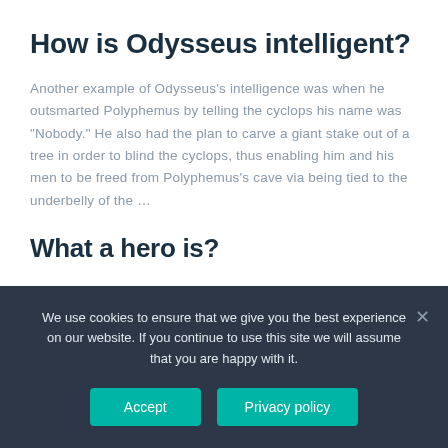How is Odysseus intelligent?
Another example of Odysseus's intelligence was when he outsmarted Polyphemus by telling the cyclops his name was "Nobody." He also had the plan to carve a giant stake out of a tree in order to blind the cyclops, thus enabling him and his men to be freed from Polyphemus's cave via being tied to the underbelly of the …
What a hero is?
(Entry 1 of 3) 1a : a mythological or legendary figure often of divine descent endowed with great strength or ability. b : an illustrious warrior. c : a person admired for achievements and noble qualities.
We use cookies to ensure that we give you the best experience on our website. If you continue to use this site we will assume that you are happy with it.